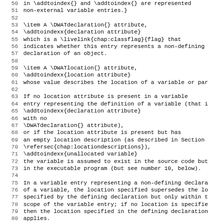Lines 50-82 of source code/documentation showing LaTeX markup for DWARF debugging format specification, covering variable entries, declaration attributes, location attributes, and related descriptions.